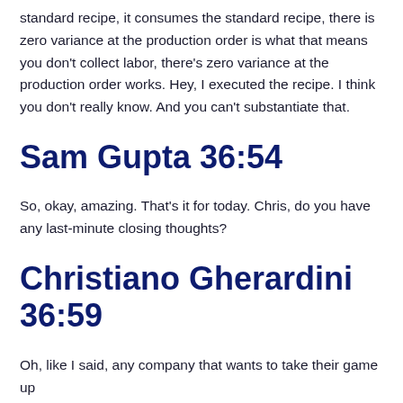standard recipe, it consumes the standard recipe, there is zero variance at the production order is what that means you don't collect labor, there's zero variance at the production order works. Hey, I executed the recipe. I think you don't really know. And you can't substantiate that.
Sam Gupta 36:54
So, okay, amazing. That's it for today. Chris, do you have any last-minute closing thoughts?
Christiano Gherardini 36:59
Oh, like I said, any company that wants to take their game up